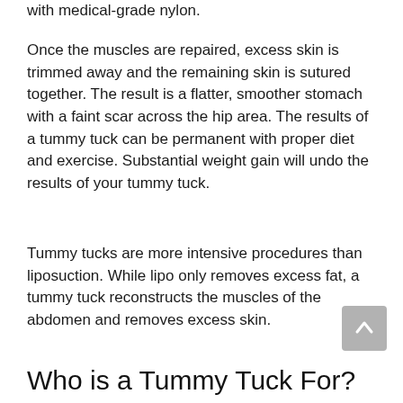with medical-grade nylon.
Once the muscles are repaired, excess skin is trimmed away and the remaining skin is sutured together. The result is a flatter, smoother stomach with a faint scar across the hip area. The results of a tummy tuck can be permanent with proper diet and exercise. Substantial weight gain will undo the results of your tummy tuck.
Tummy tucks are more intensive procedures than liposuction. While lipo only removes excess fat, a tummy tuck reconstructs the muscles of the abdomen and removes excess skin.
Who is a Tummy Tuck For?